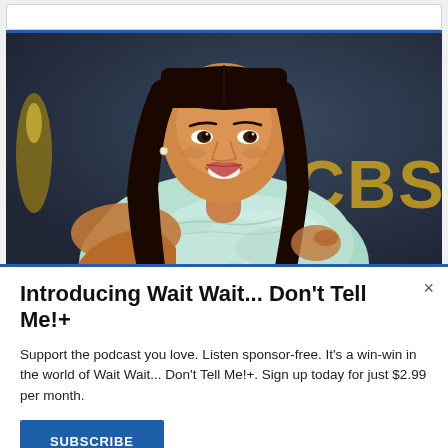[Figure (photo): A smiling woman with long straight dark hair wearing a mint/seafoam green ruffled off-shoulder gown, photographed in front of a dark CBS Emmy Awards backdrop.]
Introducing Wait Wait... Don't Tell Me!+
Support the podcast you love. Listen sponsor-free. It's a win-win in the world of Wait Wait... Don't Tell Me!+. Sign up today for just $2.99 per month.
SUBSCRIBE